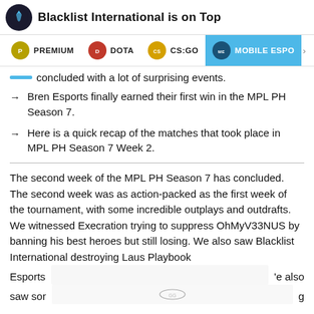Blacklist International is on Top
PREMIUM | DOTA | CS:GO | MOBILE ESPO>
concluded with a lot of surprising events.
Bren Esports finally earned their first win in the MPL PH Season 7.
Here is a quick recap of the matches that took place in MPL PH Season 7 Week 2.
The second week of the MPL PH Season 7 has concluded. The second week was as action-packed as the first week of the tournament, with some incredible outplays and outdrafts. We witnessed Execration trying to suppress OhMyV33NUS by banning his best heroes but still losing. We also saw Blacklist International destroying Laus Playbook Esports                                                      e also saw sor                                                                    g